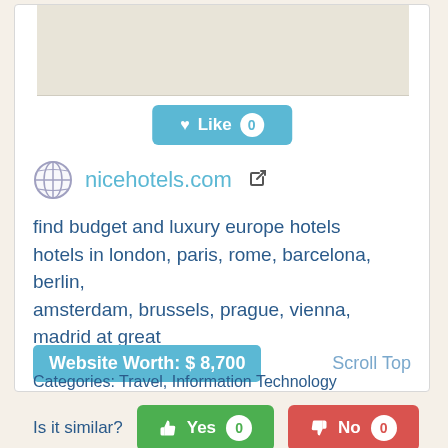[Figure (screenshot): Website card for nicehotels.com showing a like button, site info, description, worth badge, categories, and similar voting buttons]
Like 0
nicehotels.com
find budget and luxury europe hotels hotels in london, paris, rome, barcelona, berlin, amsterdam, brussels, prague, vienna, madrid at great rates
Website Worth: $ 8,700
Scroll Top
Categories: Travel, Information Technology
Is it similar?
Yes 0
No 0